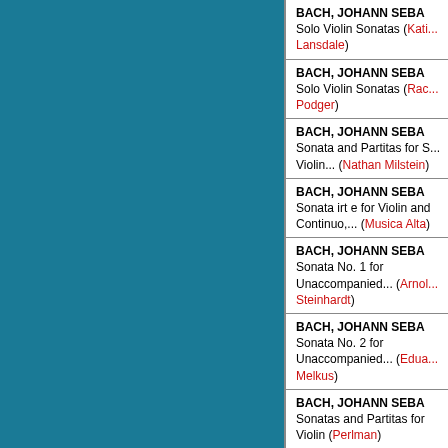BACH, JOHANN SEBA... Solo Violin Sonatas (Kati... Lansdale)
BACH, JOHANN SEBA... Solo Violin Sonatas (Rac... Podger)
BACH, JOHANN SEBA... Sonata and Partitas for S... Violin... (Nathan Milstein)
BACH, JOHANN SEBA... Sonata irt e for Violin and Continuo,... (Musica Alta...)
BACH, JOHANN SEBA... Sonata No. 1 for Unaccompanied... (Arnold Steinhardt)
BACH, JOHANN SEBA... Sonata No. 2 for Unaccompanied... (Edua... Melkus)
BACH, JOHANN SEBA... Sonatas and Partitas for Violin (Perlman)
BACH, JOHANN SEBA... Sonatas and Partitas for...